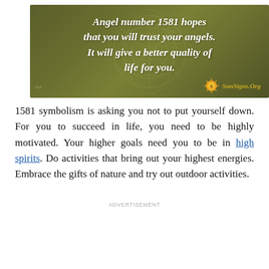[Figure (illustration): Olive-green textured background image with mandala/floral decorative pattern, containing italic white bold text: 'Angel number 1581 hopes that you will trust your angels. It will give a better quality of life for you.' with SunSigns.Org logo with sun icon in bottom right corner.]
1581 symbolism is asking you not to put yourself down. For you to succeed in life, you need to be highly motivated. Your higher goals need you to be in high spirits. Do activities that bring out your highest energies. Embrace the gifts of nature and try out outdoor activities.
ADVERTISEMENT